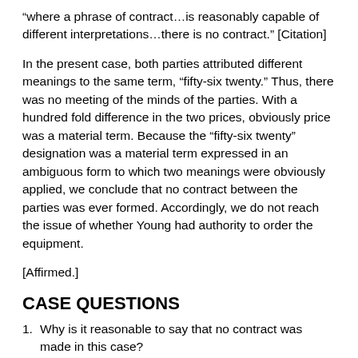“where a phrase of contract…is reasonably capable of different interpretations…there is no contract.” [Citation]
In the present case, both parties attributed different meanings to the same term, “fifty-six twenty.” Thus, there was no meeting of the minds of the parties. With a hundred fold difference in the two prices, obviously price was a material term. Because the “fifty-six twenty” designation was a material term expressed in an ambiguous form to which two meanings were obviously applied, we conclude that no contract between the parties was ever formed. Accordingly, we do not reach the issue of whether Young had authority to order the equipment.
[Affirmed.]
CASE QUESTIONS
1. Why is it reasonable to say that no contract was made in this case?